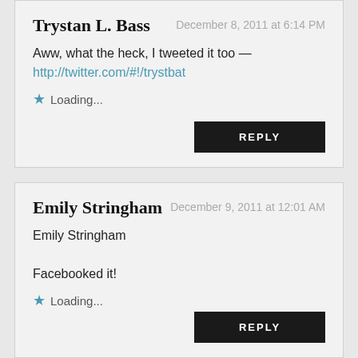Trystan L. Bass — December 8, 2011 at 6:14 PM
Aww, what the heck, I tweeted it too — http://twitter.com/#!/trystbat
Loading...
REPLY
Emily Stringham — December 9, 2011 at 12:01 AM
Emily Stringham
Facebooked it!
Loading...
REPLY